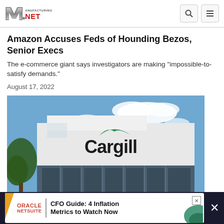Manufacturing.net
Amazon Accuses Feds of Hounding Bezos, Senior Execs
The e-commerce giant says investigators are making "impossible-to-satisfy demands."
August 17, 2022
[Figure (photo): Cargill building exterior with company logo on white facade, blue sky with clouds in background, trees visible on left side]
[Figure (infographic): Oracle NetSuite advertisement banner: CFO Guide: 4 Inflation Metrics to Watch Now, with orange triangle accent and teal graphic on right]